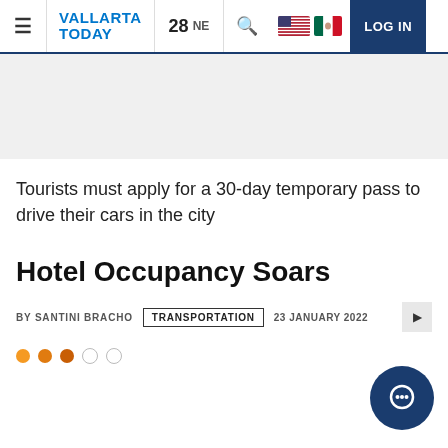Vallarta Today | 28 NEW | LOG IN
Tourists must apply for a 30-day temporary pass to drive their cars in the city
Hotel Occupancy Soars
BY SANTINI BRACHO | TRANSPORTATION | 23 JANUARY 2022